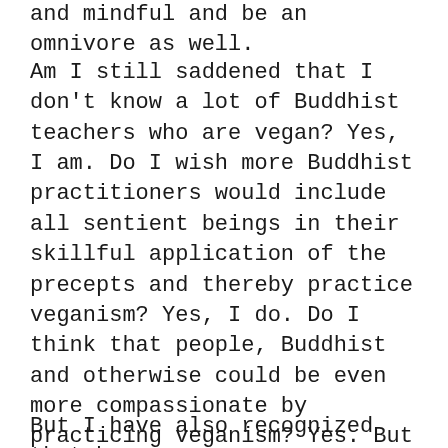and mindful and be an omnivore as well.
Am I still saddened that I don't know a lot of Buddhist teachers who are vegan? Yes, I am. Do I wish more Buddhist practitioners would include all sentient beings in their skillful application of the precepts and thereby practice veganism? Yes, I do. Do I think that people, Buddhist and otherwise could be even more compassionate by practicing veganism? Yes. But I no longer expect this simply because someone is Buddhist. And I feel less anger and resentment towards Buddhists who are not vegan.
But I have also recognized that because